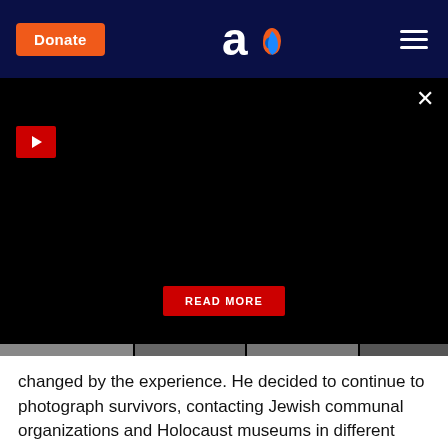Donate | [Aish logo] | Menu
[Figure (screenshot): Black video player area with a red play button in the top left, a red READ MORE button in the center bottom, and an X close button in the top right.]
changed by the experience. He decided to continue to photograph survivors, contacting Jewish communal organizations and Holocaust museums in different cities and arranging more photo sessions.
John met Amy Israel through a photo session in 2015. One of John's friend's father was a survivor, and the friend asked John to travel to his dad's home in